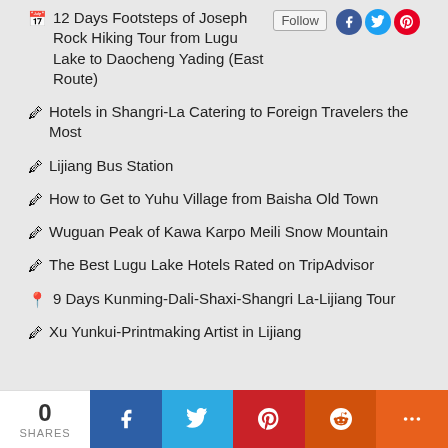12 Days Footsteps of Joseph Rock Hiking Tour from Lugu Lake to Daocheng Yading (East Route)
Hotels in Shangri-La Catering to Foreign Travelers the Most
Lijiang Bus Station
How to Get to Yuhu Village from Baisha Old Town
Wuguan Peak of Kawa Karpo Meili Snow Mountain
The Best Lugu Lake Hotels Rated on TripAdvisor
9 Days Kunming-Dali-Shaxi-Shangri La-Lijiang Tour
Xu Yunkui-Printmaking Artist in Lijiang
0 SHARES | Facebook | Twitter | Pinterest | Reddit | More